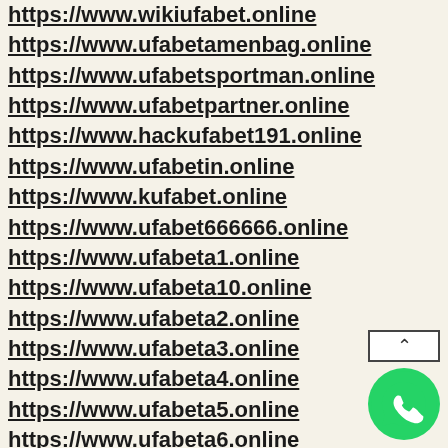https://www.wikiufabet.online
https://www.ufabetamenbag.online
https://www.ufabetsportman.online
https://www.ufabetpartner.online
https://www.hackufabet191.online
https://www.ufabetin.online
https://www.kufabet.online
https://www.ufabet666666.online
https://www.ufabeta1.online
https://www.ufabeta10.online
https://www.ufabeta2.online
https://www.ufabeta3.online
https://www.ufabeta4.online
https://www.ufabeta5.online
https://www.ufabeta6.online
https://www.ufabeta7.online
https://www.ufabeta8.online
[Figure (illustration): WhatsApp icon (green circle with phone handset) and a scroll-to-top button above it, positioned bottom-right]